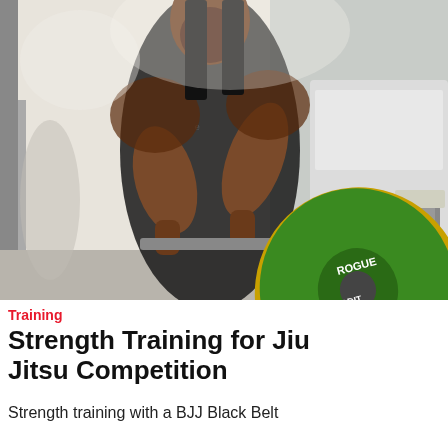[Figure (photo): A muscular man in a black tank top holding a barbell with a large green Rogue weight plate in a gym/outdoor setting. A Toyota vehicle is visible in the background.]
Training
Strength Training for Jiu Jitsu Competition
Strength training with a BJJ Black Belt